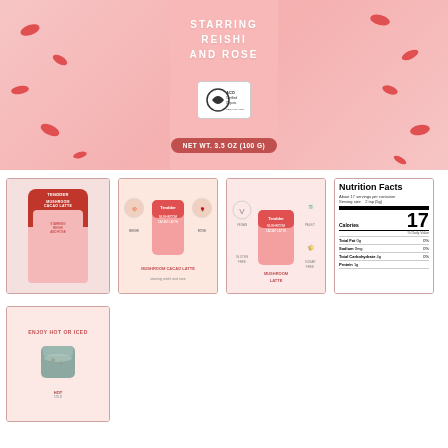[Figure (photo): Close-up of a pink product canister with red decorative shapes, showing text 'STARRING REISHI AND ROSE', ACO Certified Organic badge, and net weight label 'NET WT. 3.5 OZ (100 G)']
[Figure (photo): Thumbnail of Tendder Mushroom Cacao Latte canister with red lid and pink body]
[Figure (photo): Thumbnail showing product features grid with Mushroom Cacao Latte branding]
[Figure (photo): Thumbnail showing vegan, mushroom latte, and paleo product certifications/icons]
[Figure (photo): Thumbnail of Nutrition Facts label showing About 17 servings per container, Serving size 2 tsp (5g), Calories 17, Total Fat 0g 0%, Sodium 0mg 0%, Total Carbohydrate 4g 0%, Protein 1g]
[Figure (photo): Thumbnail showing 'ENJOY HOT OR ICED' with photo of grey cup and preparation instructions]